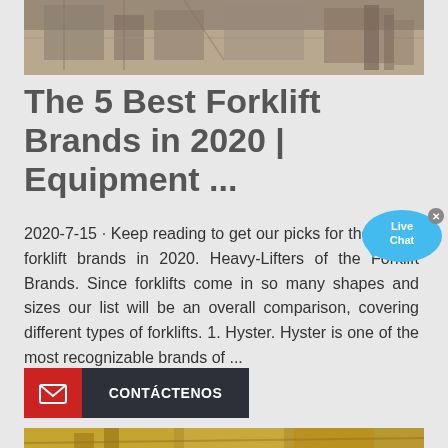[Figure (photo): Aerial or ground-level photo of a construction or mining site with structures and sandy ground]
The 5 Best Forklift Brands in 2020 | Equipment ...
2020-7-15 · Keep reading to get our picks for the 5 best forklift brands in 2020. Heavy-Lifters of the Forklift Brands. Since forklifts come in so many shapes and sizes our list will be an overall comparison, covering different types of forklifts. 1. Hyster. Hyster is one of the most recognizable brands of ...
[Figure (infographic): Red and dark contact button with envelope icon and text CONTÁCTENOS]
[Figure (photo): Photo of yellow heavy construction or mining equipment machinery]